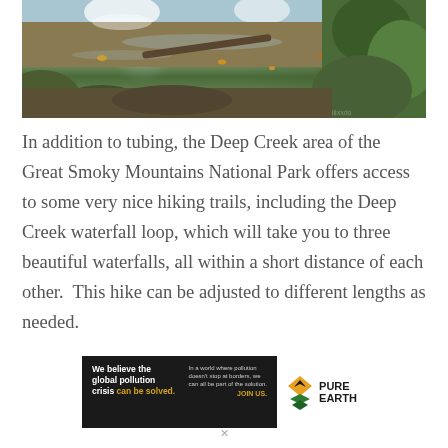[Figure (photo): Waterfall and creek scene in a forested area, with cascading white water over rocks, an autumn-colored creek with fallen leaves and a log across it, surrounded by green mossy rocks and foliage — Deep Creek area of Great Smoky Mountains National Park.]
In addition to tubing, the Deep Creek area of the Great Smoky Mountains National Park offers access to some very nice hiking trails, including the Deep Creek waterfall loop, which will take you to three beautiful waterfalls, all within a short distance of each other.  This hike can be adjusted to different lengths as needed.
[Figure (infographic): Pure Earth advertisement banner. Left black panel reads: 'We believe the global pollution crisis can be solved.' with 'can be solved.' in green/yellow. Right side of left panel reads: 'In a world where pollution doesn't stop at borders, we can all be part of the solution.' with 'JOIN US.' in yellow. Right white panel shows Pure Earth diamond logo with orange/yellow diamond and green layered triangles, and text 'PURE EARTH' in bold.]